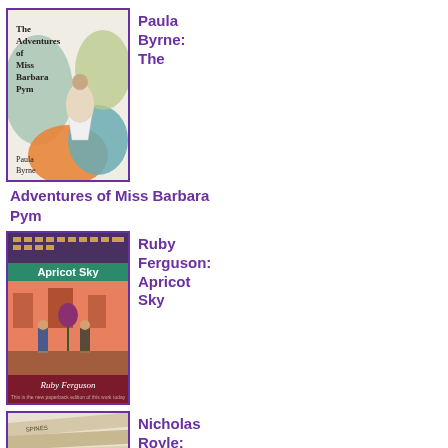[Figure (illustration): Book cover for 'The Adventures of Miss Barbara Pym' by Paula Byrne, showing colorful abstract shapes with a woman figure]
Paula Byrne: The
Adventures of Miss Barbara Pym
[Figure (illustration): Book cover for 'Apricot Sky' by Ruby Ferguson, showing a Scottish scene with a thistle and figures]
Ruby Ferguson: Apricot Sky
[Figure (illustration): Book cover partially visible, showing book spines, for Nicholas Royle: White]
Nicholas Royle: White